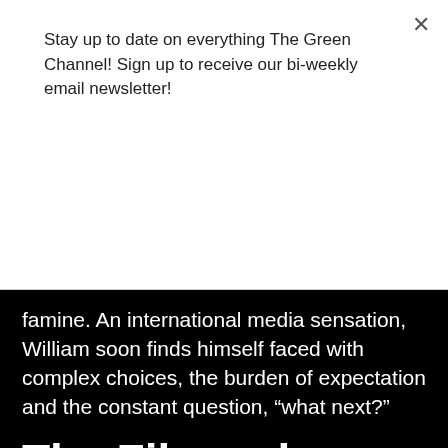Stay up to date on everything The Green Channel! Sign up to receive our bi-weekly email newsletter!
SUBSCRIBE
famine. An international media sensation, William soon finds himself faced with complex choices, the burden of expectation and the constant question, “what next?”
The Filmmakers
TILTING AT WINDMILLS presents A {GROUP THEORY} PRODUCTION documentary "WILLIAM AND THE WINDMILL" directed and produced by